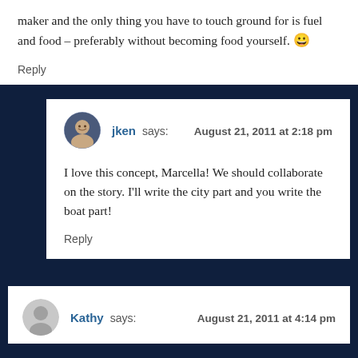maker and the only thing you have to touch ground for is fuel and food – preferably without becoming food yourself. 😀
Reply
jken says: August 21, 2011 at 2:18 pm
I love this concept, Marcella! We should collaborate on the story. I'll write the city part and you write the boat part!
Reply
Kathy says: August 21, 2011 at 4:14 pm